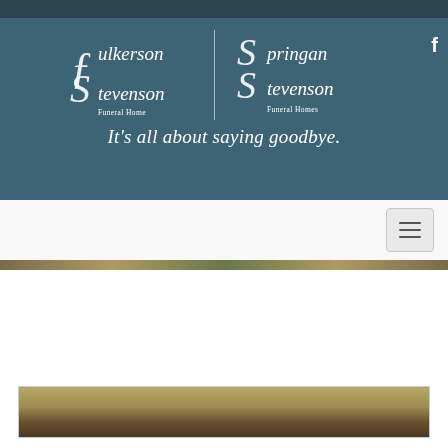[Figure (logo): Fulkerson Stevenson Funeral Home logo with decorative script text and swirl emblem on teal background]
[Figure (logo): Springan Stevenson Funeral Homes logo with decorative script text and swirl emblem on teal background]
It's all about saying goodbye.
[Figure (screenshot): Navigation bar with hamburger menu button on white background]
[Figure (photo): Partial view of an outdoor nature/memorial photo at the bottom of the page]